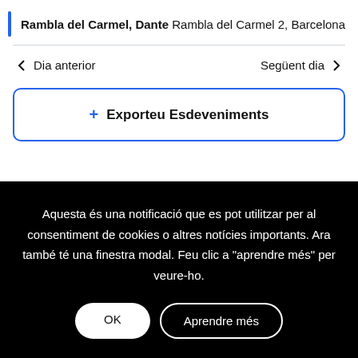Rambla del Carmel, Dante Rambla del Carmel 2, Barcelona
< Dia anterior    Següent dia >
+ Exporteu Esdeveniments
Aquesta és una notificació que es pot utilitzar per al consentiment de cookies o altres notícies importants. Ara també té una finestra modal. Feu clic a "aprendre més" per veure-ho.
OK
Aprendre més